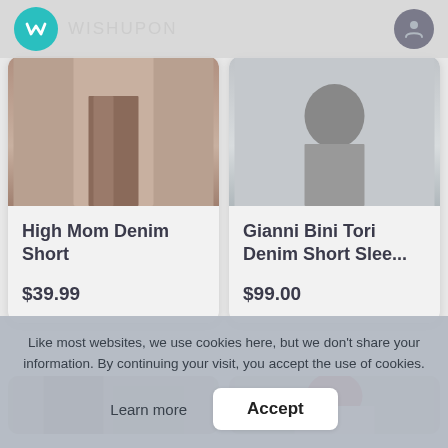WISHUPON
[Figure (screenshot): Product card image for High Mom Denim Short - fashion item photo showing legs/lower body]
High Mom Denim Short
$39.99
[Figure (screenshot): Product card image for Gianni Bini Tori Denim Short Slee... - fashion item photo]
Gianni Bini Tori Denim Short Slee...
$99.00
Like most websites, we use cookies here, but we don't share your information. By continuing your visit, you accept the use of cookies.
Learn more
Accept